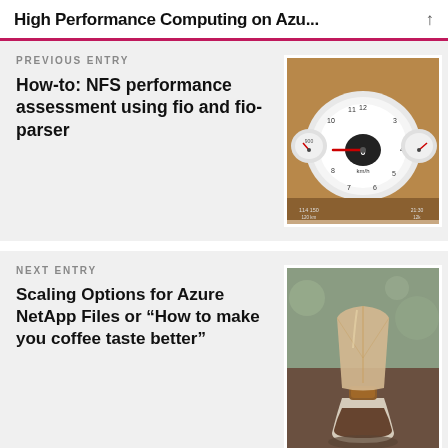High Performance Computing on Azu...
PREVIOUS ENTRY
How-to: NFS performance assessment using fio and fio-parser
[Figure (photo): Car dashboard speedometer gauges with red needle pointing to zero]
NEXT ENTRY
Scaling Options for Azure NetApp Files or “How to make you coffee taste better”
[Figure (photo): Glass Chemex pour-over coffee maker with brown paper filter on a rocky surface]
ANFCOMMUNITY
The latest community news, information and meetups for ANF